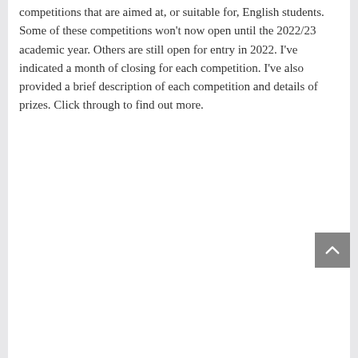competitions that are aimed at, or suitable for, English students. Some of these competitions won't now open until the 2022/23 academic year. Others are still open for entry in 2022. I've indicated a month of closing for each competition. I've also provided a brief description of each competition and details of prizes. Click through to find out more.